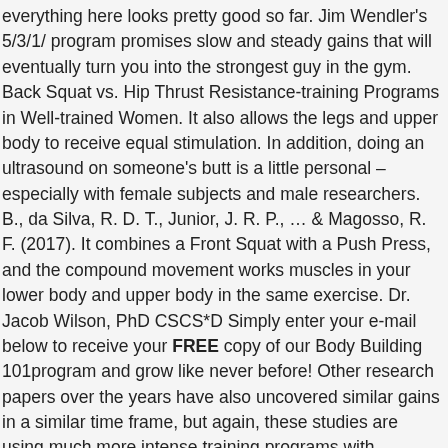everything here looks pretty good so far. Jim Wendler's 5/3/1/ program promises slow and steady gains that will eventually turn you into the strongest guy in the gym. Back Squat vs. Hip Thrust Resistance-training Programs in Well-trained Women. It also allows the legs and upper body to receive equal stimulation. In addition, doing an ultrasound on someone's butt is a little personal – especially with female subjects and male researchers. B., da Silva, R. D. T., Junior, J. R. P., … & Magosso, R. F. (2017). It combines a Front Squat with a Push Press, and the compound movement works muscles in your lower body and upper body in the same exercise. Dr. Jacob Wilson, PhD CSCS*D Simply enter your e-mail below to receive your FREE copy of our Body Building 101program and grow like never before! Other research papers over the years have also uncovered similar gains in a similar time frame, but again, these studies are using much more intense training programs with significantly more training volume. Most ordinary lifters performing thrusters don't realize how cringe-worthy their form is. Effects of